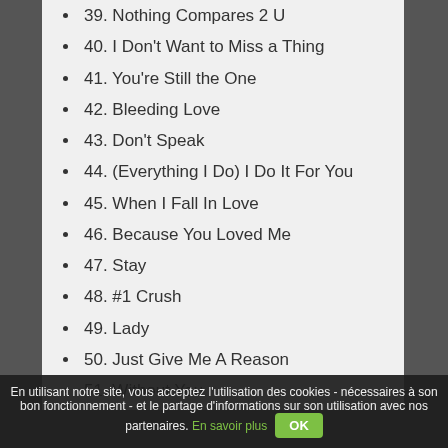39. Nothing Compares 2 U
40. I Don't Want to Miss a Thing
41. You're Still the One
42. Bleeding Love
43. Don't Speak
44. (Everything I Do) I Do It For You
45. When I Fall In Love
46. Because You Loved Me
47. Stay
48. #1 Crush
49. Lady
50. Just Give Me A Reason
51. Without You
52. Eternal Flame
53. It Ain't Over 'Til It's Over
54. Senza Una Donna
55. True Love Never Fail
56. (partially visible)
En utilisant notre site, vous acceptez l'utilisation des cookies - nécessaires à son bon fonctionnement - et le partage d'informations sur son utilisation avec nos partenaires. En savoir plus  OK